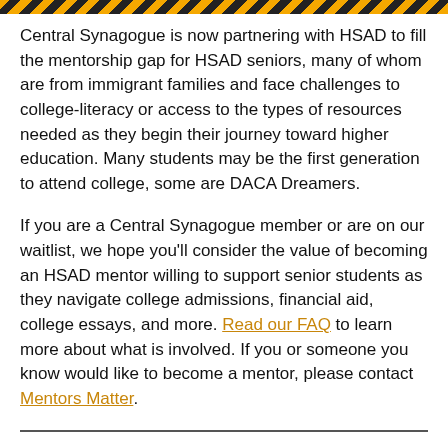[decorative stripe bar]
Central Synagogue is now partnering with HSAD to fill the mentorship gap for HSAD seniors, many of whom are from immigrant families and face challenges to college-literacy or access to the types of resources needed as they begin their journey toward higher education. Many students may be the first generation to attend college, some are DACA Dreamers.
If you are a Central Synagogue member or are on our waitlist, we hope you'll consider the value of becoming an HSAD mentor willing to support senior students as they navigate college admissions, financial aid, college essays, and more. Read our FAQ to learn more about what is involved. If you or someone you know would like to become a mentor, please contact Mentors Matter.
Exodus Transitional